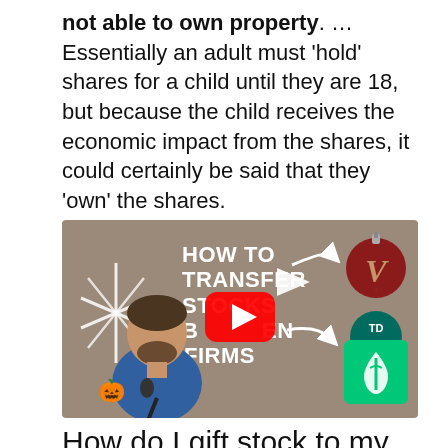not able to own property. ... Essentially an adult must 'hold' shares for a child until they are 18, but because the child receives the economic impact from the shares, it could certainly be said that they 'own' the shares.
[Figure (screenshot): YouTube video thumbnail showing a man in a blue shirt speaking at a microphone, with text 'HOW TO TRANSFER STOCKS BETWEEN FIRMS', logos for Vanguard, TD Ameritrade, and Robinhood, a YouTube play button overlay, and decorative sparkle/arrow graphics.]
How do I gift stock to my child?